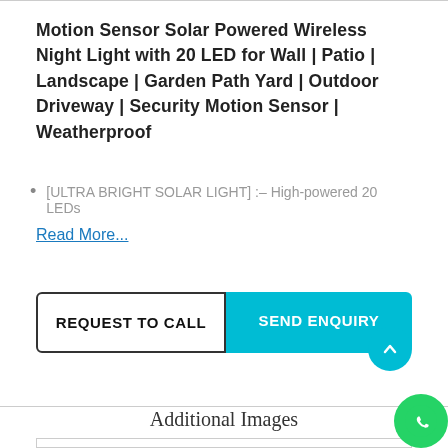Motion Sensor Solar Powered Wireless Night Light with 20 LED for Wall | Patio | Landscape | Garden Path Yard | Outdoor Driveway | Security Motion Sensor | Weatherproof
[ULTRA BRIGHT SOLAR LIGHT] :– High-powered 20 LEDs
Read More...
REQUEST TO CALL
SEND ENQUIRY
Additional Images